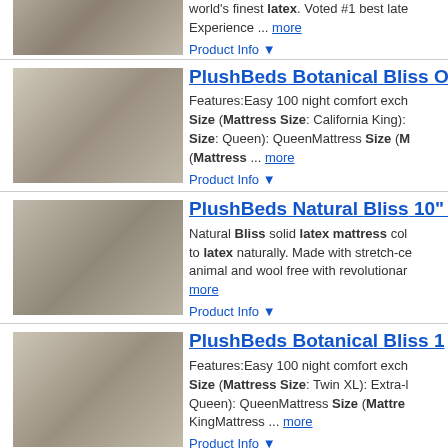world's finest latex. Voted #1 best late Experience ... more
Product Info ▼
[Figure (photo): PlushBeds Botanical Bliss mattress product photo - bedroom setting]
PlushBeds Botanical Bliss O
Features:Easy 100 night comfort exch Size (Mattress Size: California King): Size: Queen): QueenMattress Size (M (Mattress ... more
Product Info ▼
[Figure (photo): PlushBeds Natural Bliss 10 inch mattress product photo - bedroom setting]
PlushBeds Natural Bliss 10"
Natural Bliss solid latex mattress col to latex naturally. Made with stretch-ce animal and wool free with revolutionar more
Product Info ▼
[Figure (photo): PlushBeds Botanical Bliss mattress product photo - bedroom setting]
PlushBeds Botanical Bliss 1
Features:Easy 100 night comfort exch Size (Mattress Size: Twin XL): Extra- Queen): QueenMattress Size (Mattre KingMattress ... more
Product Info ▼
[Figure (photo): PlushBeds Botanical Bliss mattress product photo - bedroom setting]
PlushBeds Botanical Bliss 1
Features:Easy 100 night comfort exch 100% Natural talalay LatexMattress S